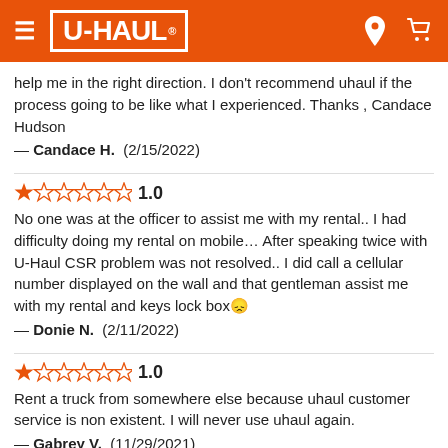U-HAUL
help me in the right direction. I don't recommend uhaul if the process going to be like what I experienced. Thanks , Candace Hudson
— Candace H.  (2/15/2022)
1.0  No one was at the officer to assist me with my rental.. I had difficulty doing my rental on mobile… After speaking twice with U-Haul CSR problem was not resolved.. I did call a cellular number displayed on the wall and that gentleman assist me with my rental and keys lock box😞
— Donie N.  (2/11/2022)
1.0  Rent a truck from somewhere else because uhaul customer service is non existent. I will never use uhaul again.
— Gabrey V.  (11/29/2021)